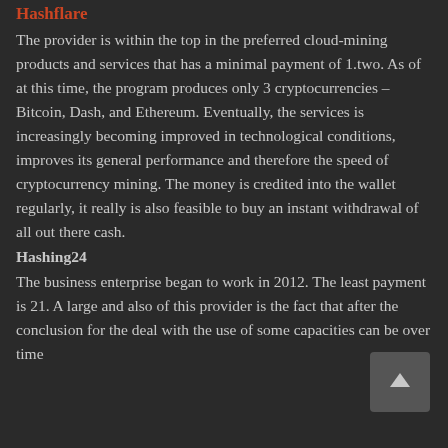Hashflare
The provider is within the top in the preferred cloud-mining products and services that has a minimal payment of 1.two. As of at this time, the program produces only 3 cryptocurrencies – Bitcoin, Dash, and Ethereum. Eventually, the services is increasingly becoming improved in technological conditions, improves its general performance and therefore the speed of cryptocurrency mining. The money is credited into the wallet regularly, it really is also feasible to buy an instant withdrawal of all out there cash.
Hashing24
The business enterprise began to work in 2012. The least payment is 21. A large and also of this provider is the fact that after the conclusion for the deal with the use of some capacities can be over time